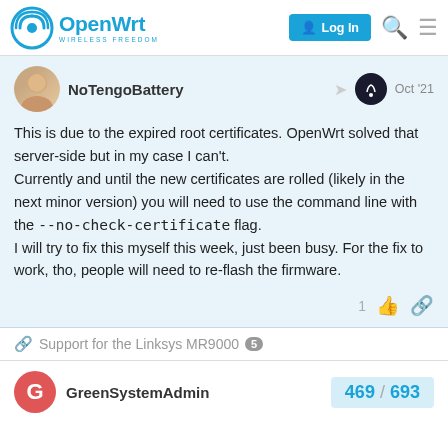OpenWrt - WIRELESS FREEDOM | Log In
NoTengoBattery  Oct '21
This is due to the expired root certificates. OpenWrt solved that server-side but in my case I can't.
Currently and until the new certificates are rolled (likely in the next minor version) you will need to use the command line with the --no-check-certificate flag.
I will try to fix this myself this week, just been busy. For the fix to work, tho, people will need to re-flash the firmware.
1
Support for the Linksys MR9000  5
GreenSystemAdmin  469 / 693